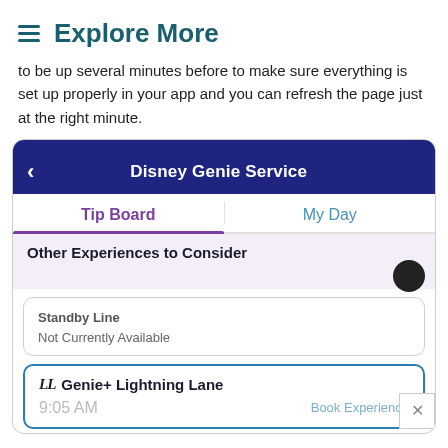Explore More
to be up several minutes before to make sure everything is set up properly in your app and you can refresh the page just at the right minute.
[Figure (screenshot): Screenshot of Disney Genie Service app screen showing Tip Board and My Day tabs, 'Other Experiences to Consider' section, a Standby Line card showing 'Not Currently Available', and a Genie+ Lightning Lane card showing 9:05 AM with Book Experience option.]